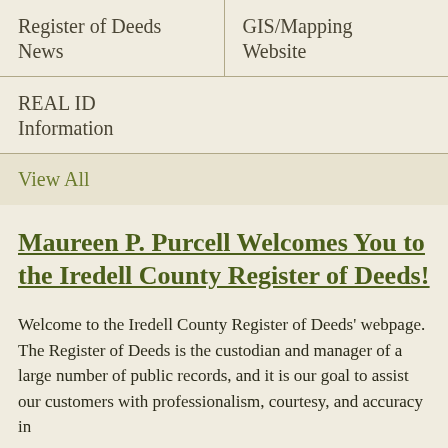Register of Deeds News
GIS/Mapping Website
REAL ID Information
View All
Maureen P. Purcell Welcomes You to the Iredell County Register of Deeds!
Welcome to the Iredell County Register of Deeds' webpage. The Register of Deeds is the custodian and manager of a large number of public records, and it is our goal to assist our customers with professionalism, courtesy, and accuracy in